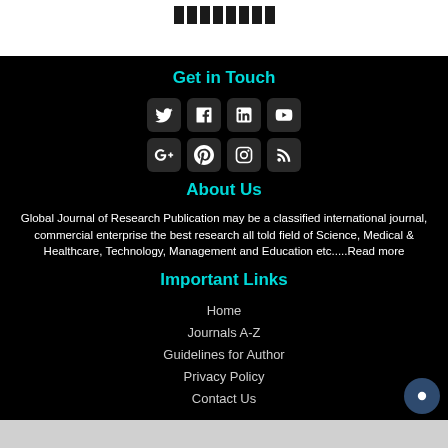[Figure (other): Barcode/logo image at top of page]
Get in Touch
[Figure (infographic): Social media icons: Twitter, Facebook, LinkedIn, YouTube, Google+, Pinterest, Instagram, RSS]
About Us
Global Journal of Research Publication may be a classified international journal, commercial enterprise the best research all told field of Science, Medical & Healthcare, Technology, Management and Education etc.....Read more
Important Links
Home
Journals A-Z
Guidelines for Author
Privacy Policy
Contact Us